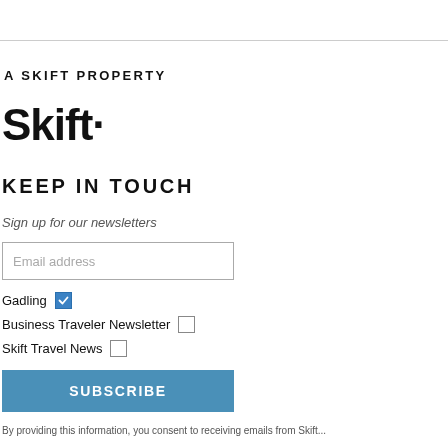A SKIFT PROPERTY
Skift·
KEEP IN TOUCH
Sign up for our newsletters
Email address
Gadling ☑
Business Traveler Newsletter ☐
Skift Travel News ☐
SUBSCRIBE
By providing this information, you consent to receiving emails from Skift...